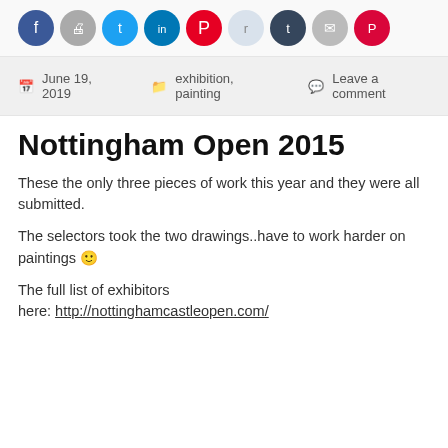[Figure (other): Row of social sharing icon buttons: Facebook, Print, Twitter, LinkedIn, Pinterest, Reddit, Tumblr, Email, Pocket]
June 19, 2019   exhibition, painting   Leave a comment
Nottingham Open 2015
These the only three pieces of work this year and they were all submitted.
The selectors took the two drawings..have to work harder on paintings 🙂
The full list of exhibitors here: http://nottinghamcastleopen.com/